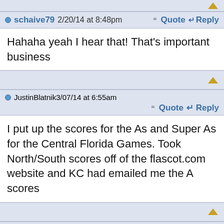schaive79 2/20/14 at 8:48pm  Quote  Reply
Hahaha yeah I hear that! That's important business
JustinBlatnik 3/07/14 at 6:55am  Quote  Reply
I put up the scores for the As and Super As for the Central Florida Games. Took North/South scores off of the flascot.com website and KC had emailed me the A scores
schaive79 3/07/14 at 9:35pm  Quote  Reply
Cool. Now if I could just get the novice and B class scores! Lol